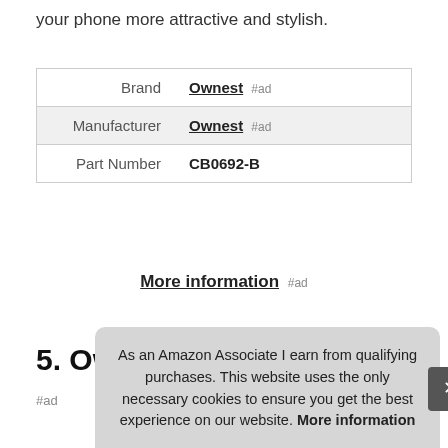your phone more attractive and stylish.
| Brand | Ownest #ad |
| Manufacturer | Ownest #ad |
| Part Number | CB0692-B |
More information #ad
5. Ownest
#ad
As an Amazon Associate I earn from qualifying purchases. This website uses the only necessary cookies to ensure you get the best experience on our website. More information